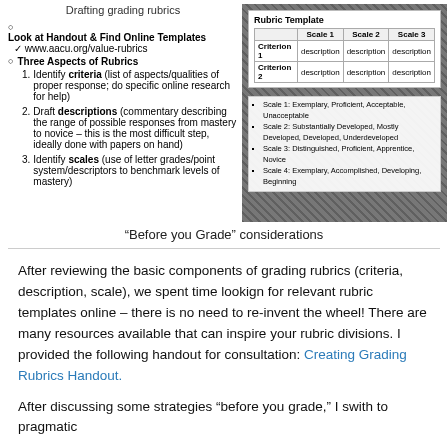Drafting grading rubrics
Look at Handout & Find Online Templates
✓ www.aacu.org/value-rubrics
Three Aspects of Rubrics
1. Identify criteria (list of aspects/qualities of proper response; do specific online research for help)
2. Draft descriptions (commentary describing the range of possible responses from mastery to novice – this is the most difficult step, ideally done with papers on hand)
3. Identify scales (use of letter grades/point system/descriptors to benchmark levels of mastery)
[Figure (table-as-image): Rubric Template table showing Criterion 1 and Criterion 2 rows with Scale 1, Scale 2, Scale 3 columns, all containing 'description'. Below: bullet points listing scale types (Exemplary/Proficient/Acceptable/Unacceptable; Substantially Developed/Mostly Developed/Undeveloped; Distinguished/Proficient/Apprentice/Novice; Exemplary/Accomplished/Developing/Beginning). Background is a crowd photo in black and white.]
“Before you Grade” considerations
After reviewing the basic components of grading rubrics (criteria, description, scale), we spent time lookign for relevant rubric templates online – there is no need to re-invent the wheel! There are many resources available that can inspire your rubric divisions. I provided the following handout for consultation: Creating Grading Rubrics Handout.
After discussing some strategies “before you grade,” I swith to pragmatic